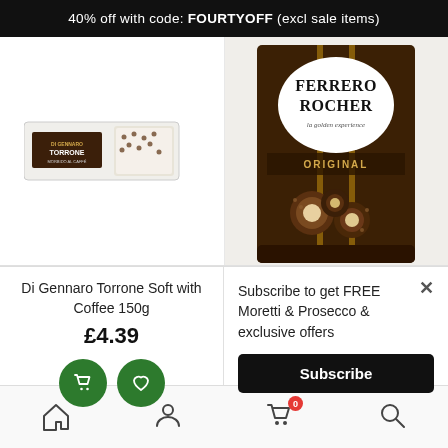40% off with code: FOURTYOFF (excl sale items)
[Figure (photo): Di Gennaro Torrone Soft with Coffee 150g product box - white packaging with chocolate coffee torrone image]
[Figure (photo): Ferrero Rocher Original chocolate box - dark brown packaging with oval logo and hazelnuts]
Di Gennaro Torrone Soft with Coffee 150g
£4.39
Subscribe to get FREE Moretti & Prosecco & exclusive offers
Subscribe